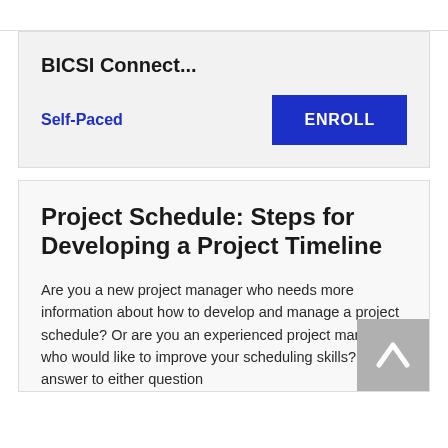BICSI Connect...
Self-Paced
[Figure (other): Blue ENROLL button]
Project Schedule: Steps for Developing a Project Timeline
Are you a new project manager who needs more information about how to develop and manage a project schedule? Or are you an experienced project manager who would like to improve your scheduling skills? If the answer to either question